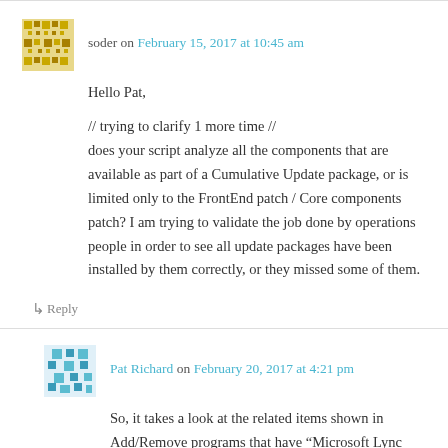soder on February 15, 2017 at 10:45 am
Hello Pat,

// trying to clarify 1 more time //
does your script analyze all the components that are available as part of a Cumulative Update package, or is limited only to the FrontEnd patch / Core components patch? I am trying to validate the job done by operations people in order to see all update packages have been installed by them correctly, or they missed some of them.
↳ Reply
Pat Richard on February 20, 2017 at 4:21 pm
So, it takes a look at the related items shown in Add/Remove programs that have “Microsoft Lync Server”, “Microsoft Office Web Apps Server 2013”, or “Skype for Business Server”, and filters out “Debugging Tools”, “Resource Kit Tools”, “Best Practices Analyzer”,